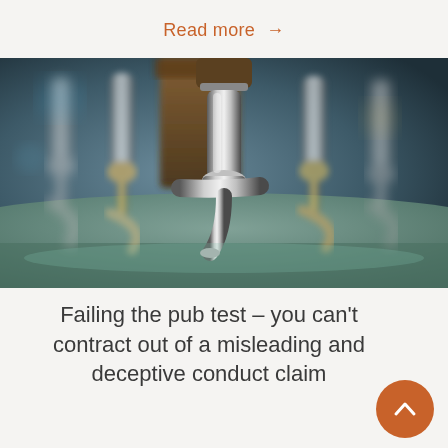Read more →
[Figure (photo): Close-up photograph of a row of chrome beer tap handles mounted on a bar counter, with a warm blurred background of wooden and metallic bar fixtures]
Failing the pub test – you can't contract out of a misleading and deceptive conduct claim